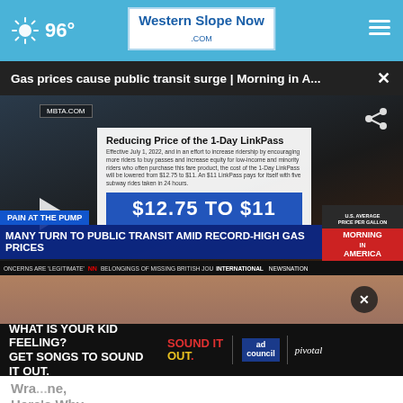96° Western Slope Now .COM
Gas prices cause public transit surge | Morning in A... ×
[Figure (screenshot): Video screenshot showing MBTA.COM overlay card with text 'Reducing Price of the 1-Day LinkPass', body text about effective July 1 2022, and a blue price banner reading '$12.75 TO $11'. Also shows a play button, 'PAIN AT THE PUMP' label, headline bar 'MANY TURN TO PUBLIC TRANSIT AMID RECORD-HIGH GAS PRICES', GasBuddy ad showing U.S. average price per gallon $5.01, Morning in America branding, and a news crawl bar at bottom.]
[Figure (screenshot): Advertisement banner: 'WHAT IS YOUR KID FEELING? GET SONGS TO SOUND IT OUT.' with Sound It Out logo, Ad Council logo, and Pivotal branding.]
Wra... ne, Here's Why